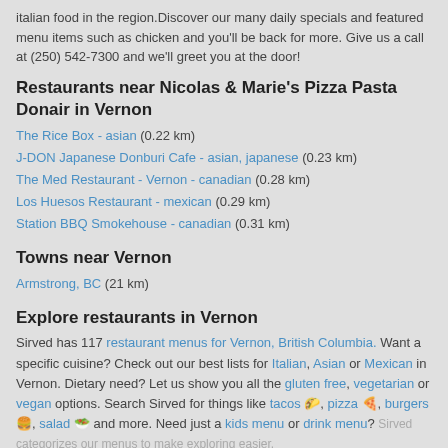italian food in the region. Discover our many daily specials and featured menu items such as chicken and you'll be back for more. Give us a call at (250) 542-7300 and we'll greet you at the door!
Restaurants near Nicolas & Marie's Pizza Pasta Donair in Vernon
The Rice Box - asian (0.22 km)
J-DON Japanese Donburi Cafe - asian, japanese (0.23 km)
The Med Restaurant - Vernon - canadian (0.28 km)
Los Huesos Restaurant - mexican (0.29 km)
Station BBQ Smokehouse - canadian (0.31 km)
Towns near Vernon
Armstrong, BC (21 km)
Explore restaurants in Vernon
Sirved has 117 restaurant menus for Vernon, British Columbia. Want a specific cuisine? Check out our best lists for Italian, Asian or Mexican in Vernon. Dietary need? Let us show you all the gluten free, vegetarian or vegan options. Search Sirved for things like tacos 🌮, pizza 🍕, burgers 🍔, salad 🥗 and more. Need just a kids menu or drink menu? Sirved categorizes our menus to make exploring easier.
Frequent searches leading to this page